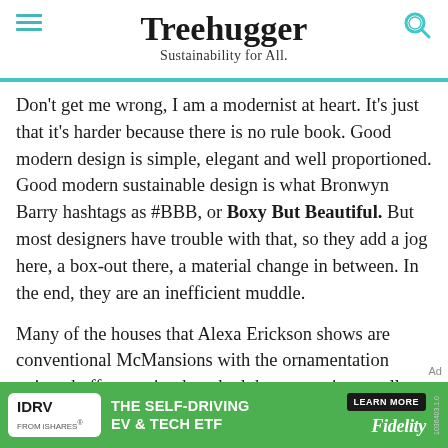Treehugger
Sustainability for All.
Don't get me wrong, I am a modernist at heart. It's just that it's harder because there is no rule book. Good modern design is simple, elegant and well proportioned. Good modern sustainable design is what Bronwyn Barry hashtags as #BBB, or Boxy But Beautiful. But most designers have trouble with that, so they add a jog here, a box-out there, a material change in between. In the end, they are an inefficient muddle.
Many of the houses that Alexa Erickson shows are conventional McMansions with the ornamentation stripped off, exposing how bad the proportions really
[Figure (infographic): Green advertisement banner for IDRV from iShares, The Self-Driving EV & Tech ETF, with Learn More button and Fidelity branding]